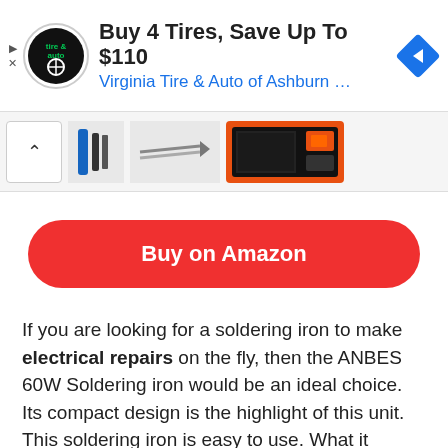[Figure (screenshot): Advertisement banner for Virginia Tire & Auto of Ashburn with logo, text 'Buy 4 Tires, Save Up To $110', and a blue navigation arrow icon]
[Figure (screenshot): Carousel strip showing product thumbnails including blue pen-style items and an orange-cased device]
[Figure (screenshot): Red rounded button with white bold text 'Buy on Amazon']
If you are looking for a soldering iron to make electrical repairs on the fly, then the ANBES 60W Soldering iron would be an ideal choice. Its compact design is the highlight of this unit.
This soldering iron is easy to use. What it means is